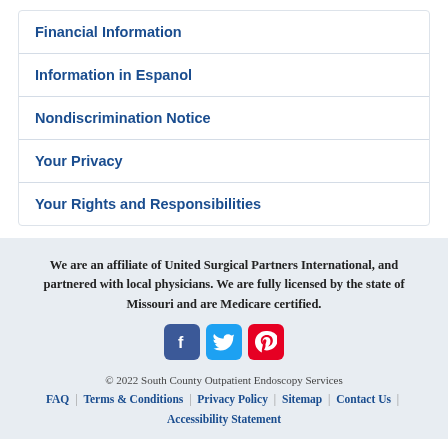Financial Information
Information in Espanol
Nondiscrimination Notice
Your Privacy
Your Rights and Responsibilities
We are an affiliate of United Surgical Partners International, and partnered with local physicians. We are fully licensed by the state of Missouri and are Medicare certified.
[Figure (infographic): Social media icons: Facebook (blue), Twitter (light blue), Pinterest (red)]
© 2022 South County Outpatient Endoscopy Services
FAQ | Terms & Conditions | Privacy Policy | Sitemap | Contact Us | Accessibility Statement